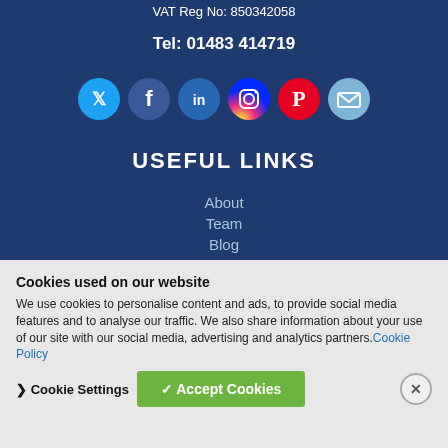VAT Reg No: 850342058
Tel: 01483 414719
[Figure (infographic): Row of six circular social media icons: Twitter (blue), Facebook (dark blue), LinkedIn (steel blue), Instagram (orange/red gradient), Pinterest (red), Email (light blue)]
USEFUL LINKS
About
Team
Blog
Candidates
Clients
Contact
Help & A...
Home...
Cookies used on our website
We use cookies to personalise content and ads, to provide social media features and to analyse our traffic. We also share information about your use of our site with our social media, advertising and analytics partners. Cookie Policy
❯ Cookie Settings
✓ Accept Cookies
✕